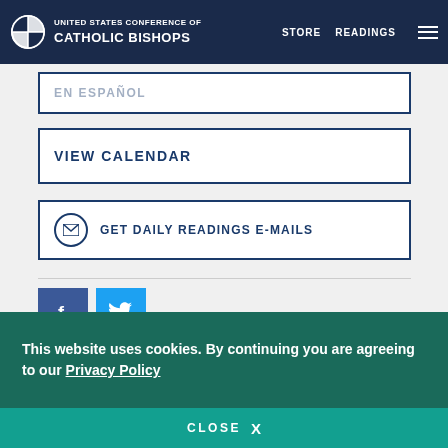UNITED STATES CONFERENCE OF CATHOLIC BISHOPS | STORE | READINGS
EN ESPAÑOL
VIEW CALENDAR
GET DAILY READINGS E-MAILS
[Figure (logo): Facebook and Twitter social share icons]
Lectionary for Mass for Use in the Dioceses of the United States, second typical edition, Copyright © 2001, 1998, 1997, 1986, 1970 Confraternity of Christian Doctrine; Psalm refrain
This website uses cookies. By continuing you are agreeing to our Privacy Policy
CLOSE X